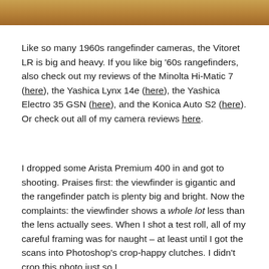[Figure (photo): Top portion of a wooden surface or object, warm brown/oak tones, cropped strip at very top of page.]
Like so many 1960s rangefinder cameras, the Vitoret LR is big and heavy. If you like big '60s rangefinders, also check out my reviews of the Minolta Hi-Matic 7 (here), the Yashica Lynx 14e (here), the Yashica Electro 35 GSN (here), and the Konica Auto S2 (here). Or check out all of my camera reviews here.
I dropped some Arista Premium 400 in and got to shooting. Praises first: the viewfinder is gigantic and the rangefinder patch is plenty big and bright. Now the complaints: the viewfinder shows a whole lot less than the lens actually sees. When I shot a test roll, all of my careful framing was for naught – at least until I got the scans into Photoshop's crop-happy clutches. I didn't crop this photo just so I